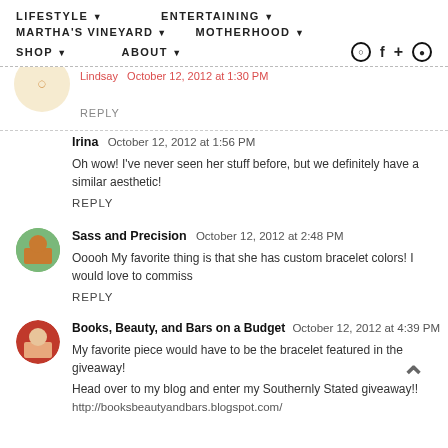LIFESTYLE  ENTERTAINING  MARTHA'S VINEYARD  MOTHERHOOD  SHOP  ABOUT
Lindsay  October 12, 2012 at 1:30 PM
REPLY
Irina  October 12, 2012 at 1:56 PM
Oh wow! I've never seen her stuff before, but we definitely have a similar aesthetic!
REPLY
Sass and Precision  October 12, 2012 at 2:48 PM
Ooooh My favorite thing is that she has custom bracelet colors! I would love to commiss
REPLY
Books, Beauty, and Bars on a Budget  October 12, 2012 at 4:39 PM
My favorite piece would have to be the bracelet featured in the giveaway!
Head over to my blog and enter my Southernly Stated giveaway!!
http://booksbeautyandbars.blogspot.com/